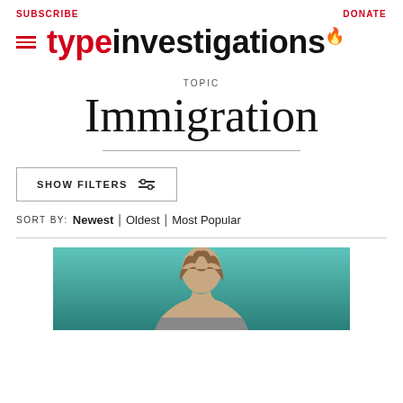SUBSCRIBE | DONATE
[Figure (logo): Type Investigations logo with hamburger menu icon, red flame above 'i', 'type' in red and 'investigations' in black]
TOPIC
Immigration
SHOW FILTERS
SORT BY: Newest | Oldest | Most Popular
[Figure (photo): Partial photo of a person with wavy brown hair against a teal/aqua background, cropped at bottom of page]